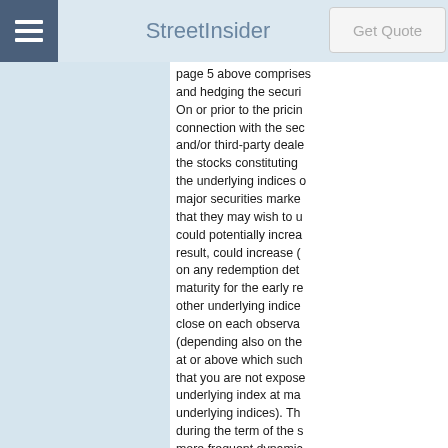StreetInsider
page 5 above comprises and hedging the securi On or prior to the pricing connection with the sec and/or third-party dealers the stocks constituting the underlying indices of major securities markets that they may wish to use could potentially increase result, could increase ( on any redemption date maturity for the early re other underlying indices close on each observa (depending also on the at or above which such that you are not expose underlying index at ma underlying indices). Th during the term of the s more frequent dynamic approaches. Additional during the term of the